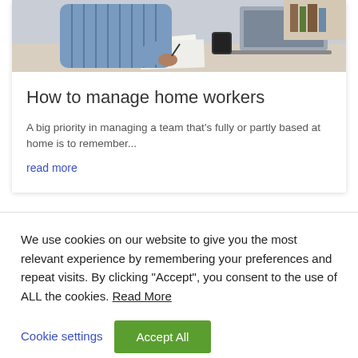[Figure (photo): Person in a blue striped shirt sitting at a desk with papers and a laptop, working from home]
How to manage home workers
A big priority in managing a team that's fully or partly based at home is to remember...
read more
We use cookies on our website to give you the most relevant experience by remembering your preferences and repeat visits. By clicking "Accept", you consent to the use of ALL the cookies. Read More
Cookie settings
Accept All